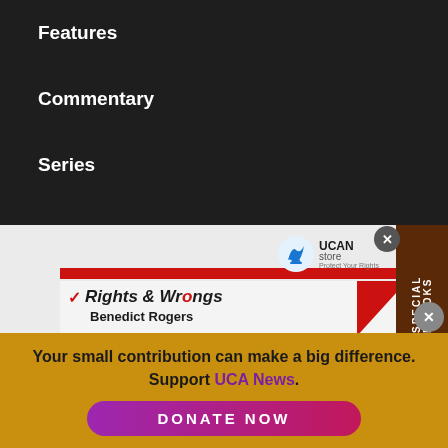Features
Commentary
Series
[Figure (screenshot): UCAN Store promotional popup showing 'Rights & Wrongs' by Benedict Rogers book feature, with red banner stripes, author photo, and blue book spine]
SPECIAL EBOOKS
Your small contribution can make a big difference. Support UCA News.
DONATE NOW